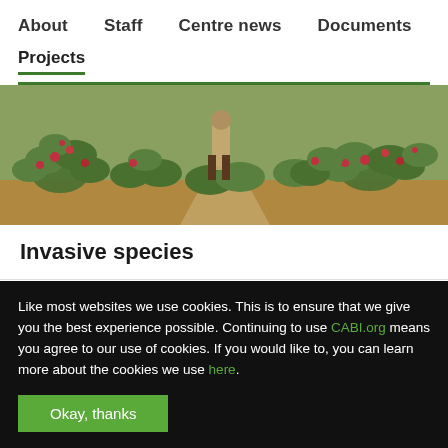About   Staff   Centre news   Documents   Projects
[Figure (photo): A person standing in a field of cactus plants with red fruits (prickly pear / invasive species), photographed outdoors.]
Invasive species
Like most websites we use cookies. This is to ensure that we give you the best experience possible. Continuing to use CABI.org means you agree to our use of cookies. If you would like to, you can learn more about the cookies we use here.
Okay, thanks